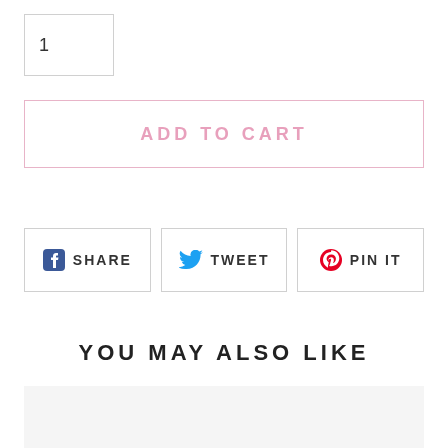1
ADD TO CART
[Figure (other): Social share buttons row: Facebook SHARE, Twitter TWEET, Pinterest PIN IT]
YOU MAY ALSO LIKE
[Figure (other): Product image placeholder (light gray box)]